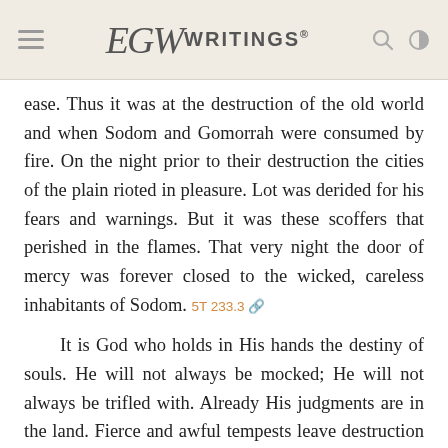EGW Writings
ease. Thus it was at the destruction of the old world and when Sodom and Gomorrah were consumed by fire. On the night prior to their destruction the cities of the plain rioted in pleasure. Lot was derided for his fears and warnings. But it was these scoffers that perished in the flames. That very night the door of mercy was forever closed to the wicked, careless inhabitants of Sodom. 5T 233.3
It is God who holds in His hands the destiny of souls. He will not always be mocked; He will not always be trifled with. Already His judgments are in the land. Fierce and awful tempests leave destruction and death in their wake. The devouring fire lays low the desolate forest and the crowded